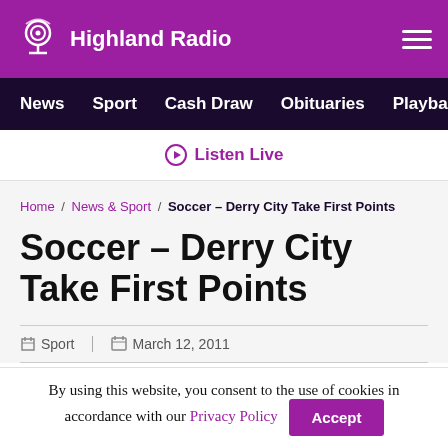Highland Radio
News | Sport | Cash Draw | Obituaries | Playback | S
Listen Live
Home / News & Sport / Soccer – Derry City Take First Points
Soccer – Derry City Take First Points
Sport | March 12, 2011
By using this website, you consent to the use of cookies in accordance with our Privacy Policy  Accept